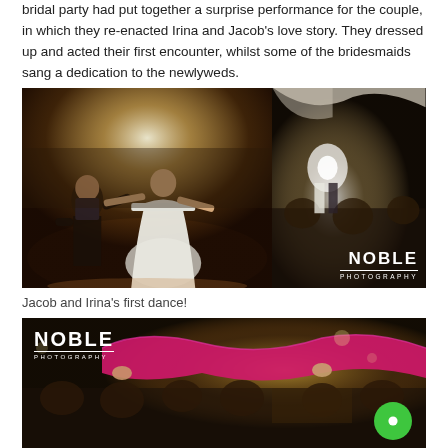bridal party had put together a surprise performance for the couple, in which they re-enacted Irina and Jacob's love story. They dressed up and acted their first encounter, whilst some of the bridesmaids sang a dedication to the newlyweds.
[Figure (photo): Two wedding dance photos side by side. Left: bride and groom doing first dance on a dance floor with dramatic spotlight. Right: wider shot of bride and groom dancing in a decorated ballroom. Noble Photography watermark visible.]
Jacob and Irina's first dance!
[Figure (photo): Wedding reception party scene with guests holding up a pink/magenta cloth or shawl over the crowd. Noble Photography watermark top-left. Green chat button in bottom-right corner.]